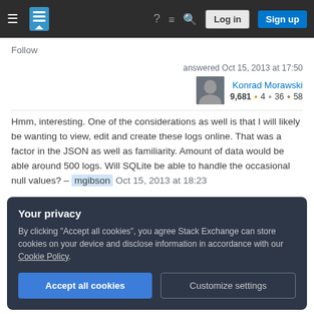Stack Exchange navigation bar with Log in and Sign up buttons
Follow
answered Oct 15, 2013 at 17:50
Konrad Morawski
9,681 ●4 ●36 ●58
Hmm, interesting. One of the considerations as well is that I will likely be wanting to view, edit and create these logs online. That was a factor in the JSON as well as familiarity. Amount of data would be able around 500 logs. Will SQLite be able to handle the occasional null values? – mgibson Oct 15, 2013 at 18:23
Your privacy
By clicking "Accept all cookies", you agree Stack Exchange can store cookies on your device and disclose information in accordance with our Cookie Policy.
Accept all cookies Customize settings
records is a little, so storage format is not an issue.